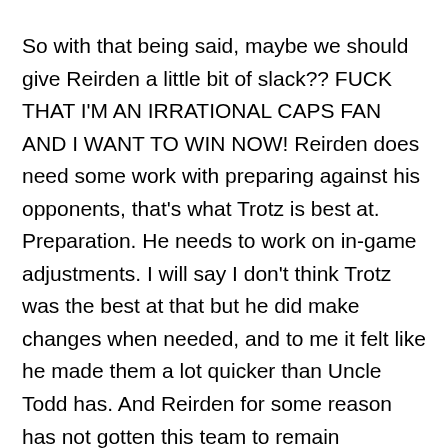So with that being said, maybe we should give Reirden a little bit of slack?? FUCK THAT I'M AN IRRATIONAL CAPS FAN AND I WANT TO WIN NOW! Reirden does need some work with preparing against his opponents, that's what Trotz is best at. Preparation. He needs to work on in-game adjustments. I will say I don't think Trotz was the best at that but he did make changes when needed, and to me it felt like he made them a lot quicker than Uncle Todd has. And Reirden for some reason has not gotten this team to remain discipline penalty-wise AND